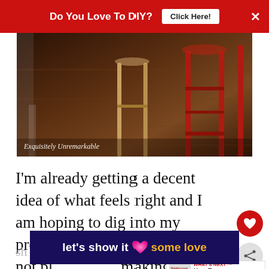Do You Love To DIY? [Click Here!] ×
[Figure (photo): Photo of bar stools on a dark wood floor. A natural wood stool and red painted stools visible. Caption reads 'Exquisitely Unremarkable'.]
Exquisitely Unremarkable
I'm already getting a decent idea of what feels right and I am hoping to dig into my projects this weekend. I'm not planning on making too many changes. I'm going to
[Figure (infographic): WHAT'S NEXT arrow widget showing 'How To Choose A...']
[Figure (infographic): Bottom advertisement banner: 'let's show it some love' with a pink heart icon]